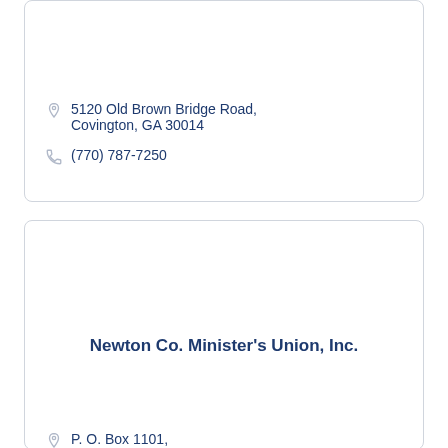5120 Old Brown Bridge Road, Covington, GA 30014
(770) 787-7250
Newton Co. Minister's Union, Inc.
P. O. Box 1101,